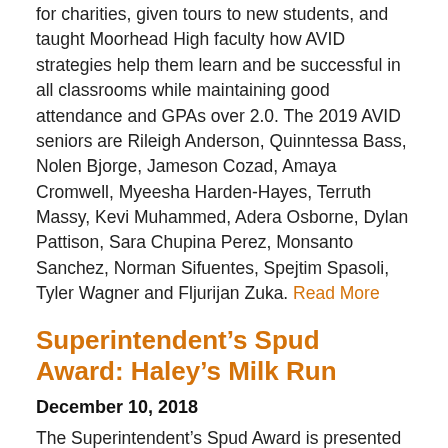for charities, given tours to new students, and taught Moorhead High faculty how AVID strategies help them learn and be successful in all classrooms while maintaining good attendance and GPAs over 2.0. The 2019 AVID seniors are Rileigh Anderson, Quinntessa Bass, Nolen Bjorge, Jameson Cozad, Amaya Cromwell, Myeesha Harden-Hayes, Terruth Massy, Kevi Muhammed, Adera Osborne, Dylan Pattison, Sara Chupina Perez, Monsanto Sanchez, Norman Sifuentes, Spejtim Spasoli, Tyler Wagner and Fljurijan Zuka. Read More
Superintendent’s Spud Award: Haley’s Milk Run
December 10, 2018
The Superintendent’s Spud Award is presented to Haley Dellaneva for her distinguished service that positively impacts the community. Since 2011 Dellaneva, with the